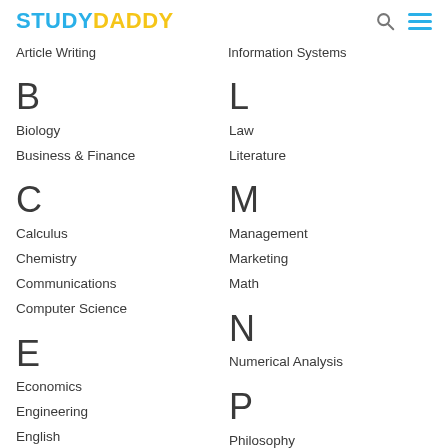STUDYDADDY
Article Writing
Information Systems
B
Biology
Business & Finance
C
Calculus
Chemistry
Communications
Computer Science
E
Economics
Engineering
English
Environmental Science
L
Law
Literature
M
Management
Marketing
Math
N
Numerical Analysis
P
Philosophy
Physics